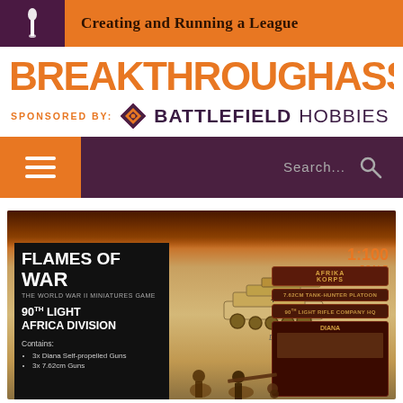Creating and Running a League
[Figure (logo): Breakthrough Assault logo with soldier silhouette, sponsored by Battlefield Hobbies with diamond compass rose icon]
[Figure (infographic): Navigation bar with hamburger menu icon on orange background and search bar on dark purple background]
[Figure (photo): Flames of War 90th Light Africa Division product box showing Diana self-propelled gun, unit cards, and 1:100 scale badge]